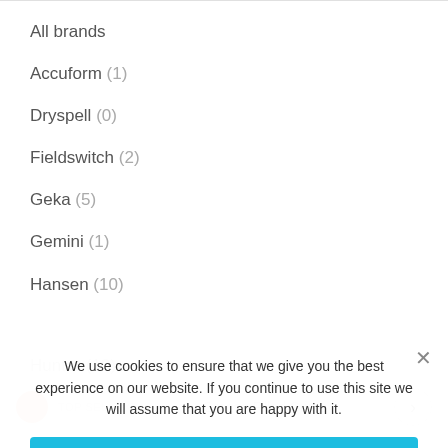All brands
Accuform (1)
Dryspell (0)
Fieldswitch (2)
Geka (5)
Gemini (1)
Hansen (10)
Hunter (10)
We use cookies to ensure that we give you the best experience on our website. If you continue to use this site we will assume that you are happy with it.
OK
TOP SELLING
Grease Filled Crimp